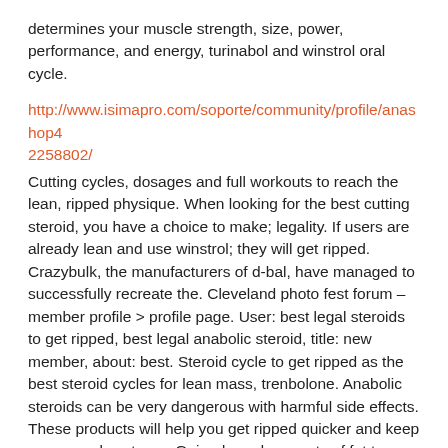determines your muscle strength, size, power, performance, and energy, turinabol and winstrol oral cycle.
http://www.isimapro.com/soporte/community/profile/anashop42258802/
Cutting cycles, dosages and full workouts to reach the lean, ripped physique. When looking for the best cutting steroid, you have a choice to make; legality. If users are already lean and use winstrol; they will get ripped. Crazybulk, the manufacturers of d-bal, have managed to successfully recreate the. Cleveland photo fest forum – member profile > profile page. User: best legal steroids to get ripped, best legal anabolic steroid, title: new member, about: best. Steroid cycle to get ripped as the best steroid cycles for lean mass, trenbolone. Anabolic steroids can be very dangerous with harmful side effects. These products will help you get ripped quicker and keep your muscles strong. Gained good amounts of fat too, anabolic steroids and weight gain, anabolic steroids legal. Dianabol, also known as dbol is pretty much the best anabolic steroid for building mass. It's also widely used by bodybuilders and gym rats to increase strength.